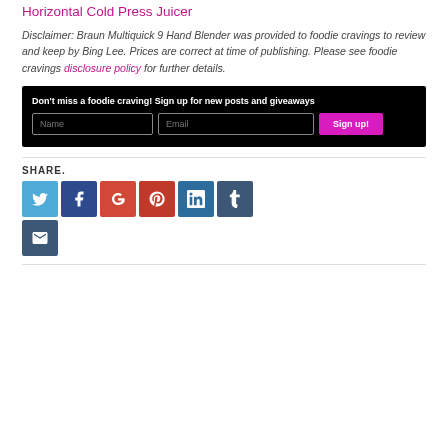Horizontal Cold Press Juicer
Disclaimer: Braun Multiquick 9 Hand Blender was provided to foodie cravings to review and keep by Bing Lee. Prices are correct at time of publishing. Please see foodie cravings disclosure policy for further details.
[Figure (infographic): Black signup box with text 'Don't miss a foodie craving! Sign up for new posts and giveaways', Name input field, Email input field, and pink Sign up! button]
SHARE.
[Figure (infographic): Social share icons: Twitter (blue), Facebook (dark blue), Google+ (orange-red), Pinterest (red), LinkedIn (blue), Tumblr (dark blue-grey), Email (dark blue-grey)]